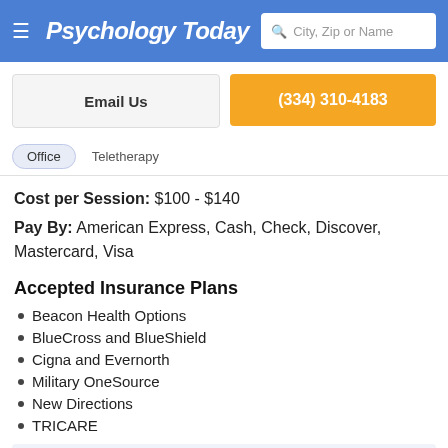Psychology Today | City, Zip or Name
Email Us
(334) 310-4183
Office   Teletherapy
Cost per Session: $100 - $140
Pay By: American Express, Cash, Check, Discover, Mastercard, Visa
Accepted Insurance Plans
Beacon Health Options
BlueCross and BlueShield
Cigna and Evernorth
Military OneSource
New Directions
TRICARE
Outside of my accepted insurance, I am considered an out